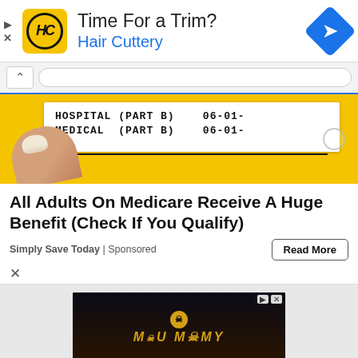[Figure (screenshot): Hair Cuttery advertisement banner with HC logo, 'Time For a Trim?' headline, 'Hair Cuttery' subtext in blue, and navigation diamond icon]
[Figure (photo): Medicare card being pulled from a yellow envelope, showing 'HOSPITAL (PART B)' and 'MEDICAL (PART B)' text with date '06-01-']
All Adults On Medicare Receive A Huge Benefit (Check If You Qualify)
Simply Save Today | Sponsored
[Figure (screenshot): Hot Topic advertisement for The Mummy, showing logo, HOT TOPIC branding, SHOP NOW button, and three panels of clothing/merchandise]